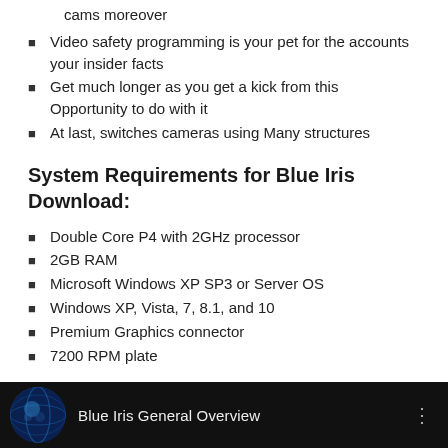cams moreover
Video safety programming is your pet for the accounts your insider facts
Get much longer as you get a kick from this Opportunity to do with it
At last, switches cameras using Many structures
System Requirements for Blue Iris Download:
Double Core P4 with 2GHz processor
2GB RAM
Microsoft Windows XP SP3 or Server OS
Windows XP, Vista, 7, 8.1, and 10
Premium Graphics connector
7200 RPM plate
[Figure (screenshot): Video thumbnail strip showing a globe-like Blue Iris logo and partial text 'Blue Iris General Overview' on a dark background]